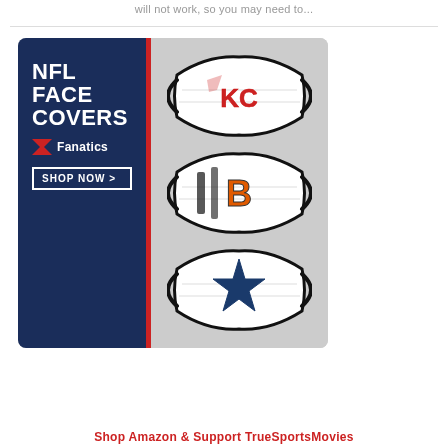will not work, so you may need to...
[Figure (advertisement): Fanatics NFL Face Covers advertisement showing three white face masks with NFL team logos (Kansas City Chiefs KC, Cincinnati Bengals B, Dallas Cowboys star). Left panel is dark navy blue with white bold text 'NFL FACE COVERS', Fanatics logo, and 'SHOP NOW >' button. Red vertical stripe divides panels.]
Shop Amazon & Support TrueSportsMovies